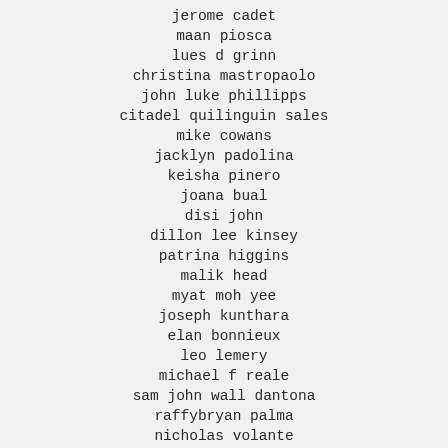jerome cadet
maan piosca
lues d grinn
christina mastropaolo
john luke phillipps
citadel quilinguin sales
mike cowans
jacklyn padolina
keisha pinero
joana bual
disi john
dillon lee kinsey
patrina higgins
malik head
myat moh yee
joseph kunthara
elan bonnieux
leo lemery
michael f reale
sam john wall dantona
raffybryan palma
nicholas volante
patricia banta faltermeier
tebogo lobzin maloba